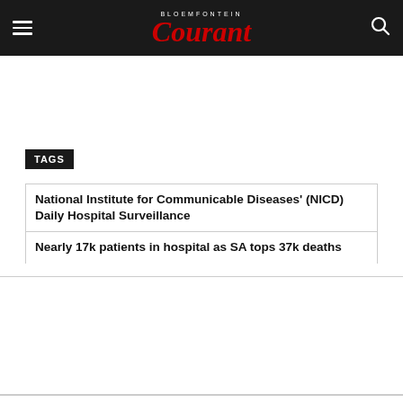Bloemfontein Courant
TAGS
National Institute for Communicable Diseases' (NICD) Daily Hospital Surveillance
Nearly 17k patients in hospital as SA tops 37k deaths
Previous article
Next article
#CoronavirusFS: Eight
Brother appears in court for